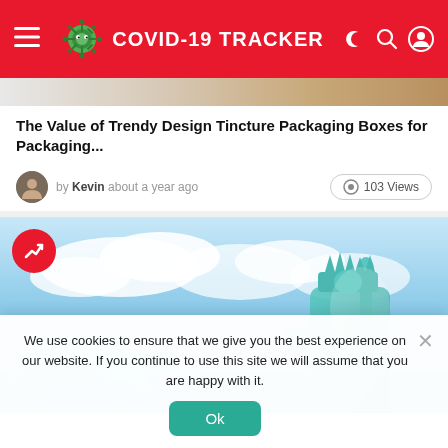COVID-19 TRACKER
[Figure (screenshot): Partial article image strip showing top of a product packaging image]
The Value of Trendy Design Tincture Packaging Boxes for Packaging...
by Kevin about a year ago · 103 Views
[Figure (photo): Statue of Liberty with digital blue cloud/network overlay against cloudy sky background, with red trending badge icon in top left]
We use cookies to ensure that we give you the best experience on our website. If you continue to use this site we will assume that you are happy with it.